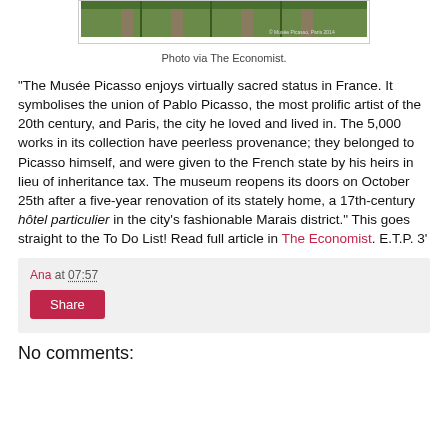[Figure (photo): Exterior photo of Musée Picasso, Paris 2014, via The Economist]
Photo via The Economist.
"The Musée Picasso enjoys virtually sacred status in France. It symbolises the union of Pablo Picasso, the most prolific artist of the 20th century, and Paris, the city he loved and lived in. The 5,000 works in its collection have peerless provenance; they belonged to Picasso himself, and were given to the French state by his heirs in lieu of inheritance tax. The museum reopens its doors on October 25th after a five-year renovation of its stately home, a 17th-century hôtel particulier in the city's fashionable Marais district." This goes straight to the To Do List! Read full article in The Economist. E.T.P. 3'
Ana at 07:57
Share
No comments: